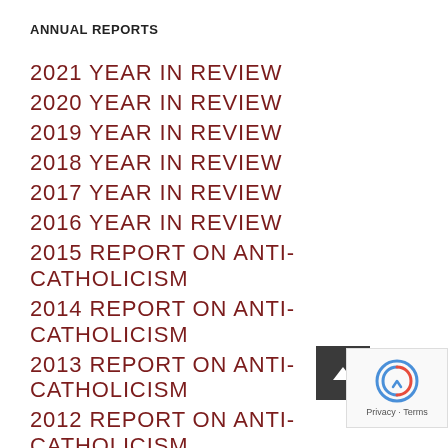ANNUAL REPORTS
2021 YEAR IN REVIEW
2020 YEAR IN REVIEW
2019 YEAR IN REVIEW
2018 YEAR IN REVIEW
2017 YEAR IN REVIEW
2016 YEAR IN REVIEW
2015 REPORT ON ANTI-CATHOLICISM
2014 REPORT ON ANTI-CATHOLICISM
2013 REPORT ON ANTI-CATHOLICISM
2012 REPORT ON ANTI-CATHOLICISM
2011 REPORT ON ANTI-CATHOLICISM
2010 REPORT ON ANTI-CATHOLICISM